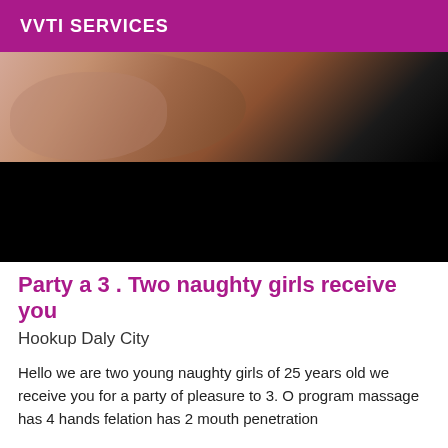VVTI SERVICES
[Figure (photo): Photo of a person lying down, partially visible, with a purple/lavender fabric visible, on a dark background. Lower half of image is black.]
Party a 3 . Two naughty girls receive you
Hookup Daly City
Hello we are two young naughty girls of 25 years old we receive you for a party of pleasure to 3. O program massage has 4 hands felation has 2 mouth penetration